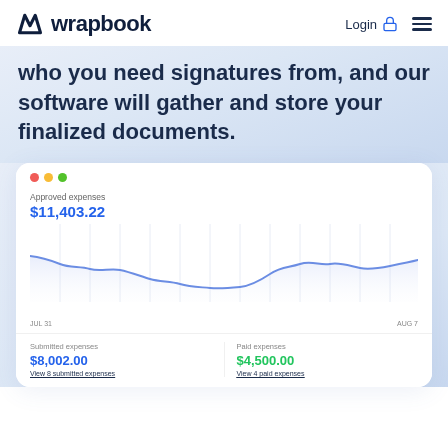wrapbook | Login ☰
who you need signatures from, and our software will gather and store your finalized documents.
[Figure (line-chart): Approved expenses]
Submitted expenses
$8,002.00
View 8 submitted expenses
Paid expenses
$4,500.00
View 4 paid expenses